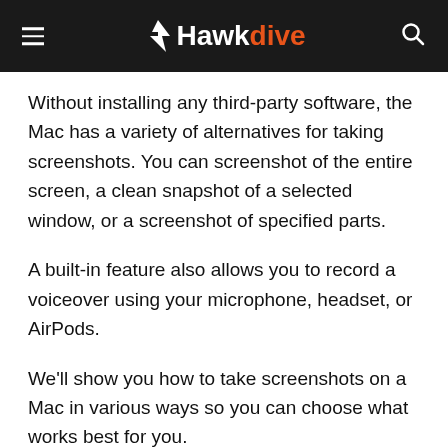Hawkdive
Without installing any third-party software, the Mac has a variety of alternatives for taking screenshots. You can screenshot of the entire screen, a clean snapshot of a selected window, or a screenshot of specified parts.
A built-in feature also allows you to record a voiceover using your microphone, headset, or AirPods.
We'll show you how to take screenshots on a Mac in various ways so you can choose what works best for you.
If you have the free Screenshot tool with the latest versions of macOS, it's probably the easiest approach to acquire the exact image or video you're looking for. However, we'll teach you how to use Mac keyboard shortcuts for snapshots and